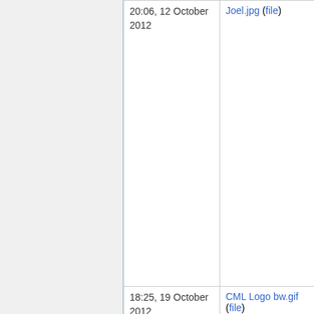| Date | File | Thumbnail |
| --- | --- | --- |
| 20:06, 12 October 2012 | Joel.jpg (file) | [thumbnail: person photo] |
| 18:25, 19 October 2012 | CML Logo bw.gif (file) | [thumbnail: CML logo bw] |
| 18:27, 19 October 2012 | CML Logo vertical bw.gif (file) | [thumbnail: CML logo vertical bw] |
|  |  | [thumbnail: person photo 2] |